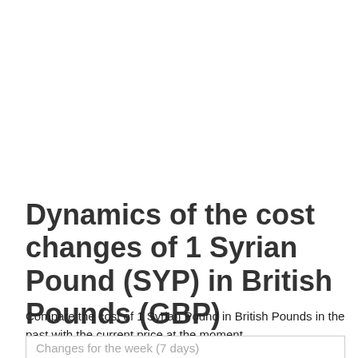Dynamics of the cost changes of 1 Syrian Pound (SYP) in British Pounds (GBP)
Compare the cost of 1 Syrian Pound in British Pounds in the past with the current price at the moment.
Changes for the week (7 days)